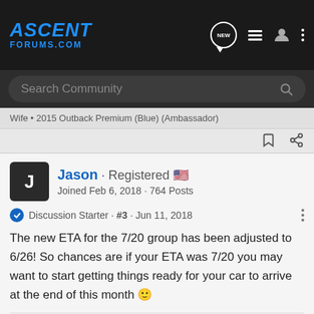ASCENT FORUMS.COM
Search Community
Wife • 2015 Outback Premium (Blue) (Ambassador)
Jason · Registered 🇺🇸
Joined Feb 6, 2018 · 764 Posts
Discussion Starter · #3 · Jun 11, 2018
The new ETA for the 7/20 group has been adjusted to 6/26! So chances are if your ETA was 7/20 you may want to start getting things ready for your car to arrive at the end of this month 🙂
tneur, 2329, calimomofboys and 2 others